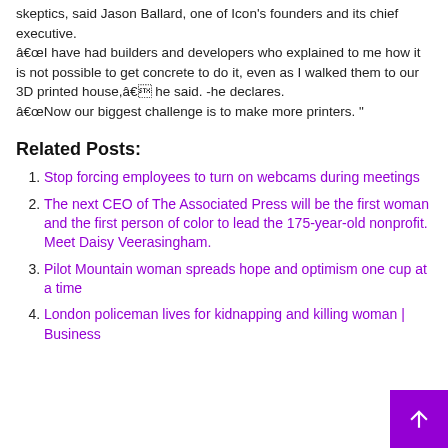skeptics, said Jason Ballard, one of Icon's founders and its chief executive.
“I have had builders and developers who explained to me how it is not possible to get concrete to do it, even as I walked them to our 3D printed house,” he said. -he declares.
“Now our biggest challenge is to make more printers. ”
Related Posts:
Stop forcing employees to turn on webcams during meetings
The next CEO of The Associated Press will be the first woman and the first person of color to lead the 175-year-old nonprofit. Meet Daisy Veerasingham.
Pilot Mountain woman spreads hope and optimism one cup at a time
London policeman lives for kidnapping and killing woman | Business